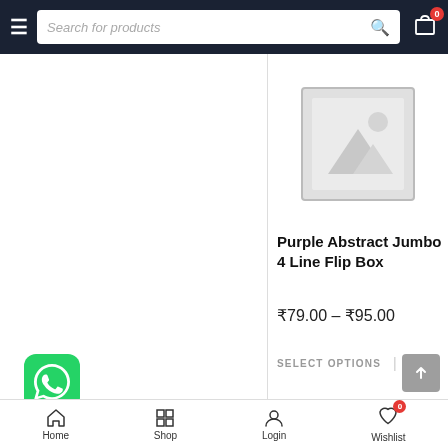Search for products
[Figure (illustration): WhatsApp green icon with phone handset on left side of page]
[Figure (illustration): Product image placeholder with mountain/landscape icon]
Purple Abstract Jumbo 4 Line Flip Box
₹79.00 – ₹95.00
SELECT OPTIONS
Home  Shop  Login  Wishlist